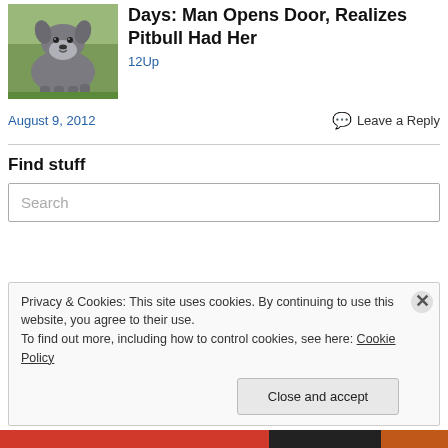[Figure (photo): A gray and white pitbull dog standing on grass, facing camera.]
Days: Man Opens Door, Realizes Pitbull Had Her
12Up
August 9, 2012
Leave a Reply
Find stuff
Search
Privacy & Cookies: This site uses cookies. By continuing to use this website, you agree to their use.
To find out more, including how to control cookies, see here: Cookie Policy
Close and accept